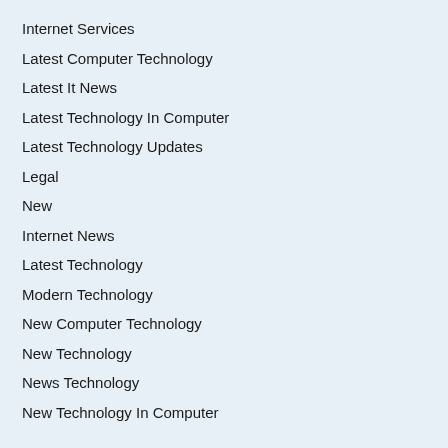Internet Services
Latest Computer Technology
Latest It News
Latest Technology In Computer
Latest Technology Updates
Legal
New
Internet News
Latest Technology
Modern Technology
New Computer Technology
New Technology
News Technology
New Technology In Computer